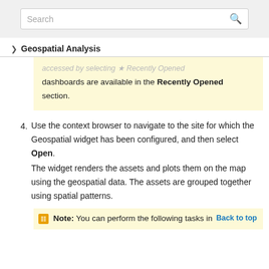Search
> Geospatial Analysis
...accessed by selecting Recently Opened dashboards are available in the Recently Opened section.
4. Use the context browser to navigate to the site for which the Geospatial widget has been configured, and then select Open. The widget renders the assets and plots them on the map using the geospatial data. The assets are grouped together using spatial patterns.
Note: You can perform the following tasks in